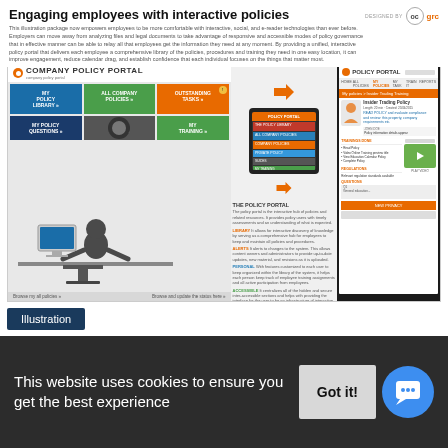Engaging employees with interactive policies
This illustration package now empowers employees to be more comfortable with interactive, social, and e-reader technologies than ever before. Employers can move away from analyzing files and legal documents to take advantage of responsive and accessible modes of policy governance that in effective manner can be able to relay all that employees get the information they need at any moment. By providing a unified, interactive policy portal that delivers each employee a comprehensive library of the policies, procedures and training they need in one easy location, it can improve engagement, reduce calendar drag, and establish confidence that each individual focuses on the things that matter most.
[Figure (screenshot): Screenshot of a company policy portal web application showing a colorful grid-based navigation interface with menu items like 'My Policy Library', 'All Company Policies', 'Outstanding Tasks', 'My Policy Questions', 'Policy Alerts', and 'My Training'. A person is shown sitting at a desk viewing the portal. A tablet device showing the same portal is displayed in the middle. On the right, a full-screen view of the Policy Portal showing an Insider Trading Policy page with sidebar navigation, avatar, video thumbnail, and navigation links.]
Illustration
Engaging Employees with Interactive Policies
Sponsored by: MetaCompliance
This website uses cookies to ensure you get the best experience
Got it!